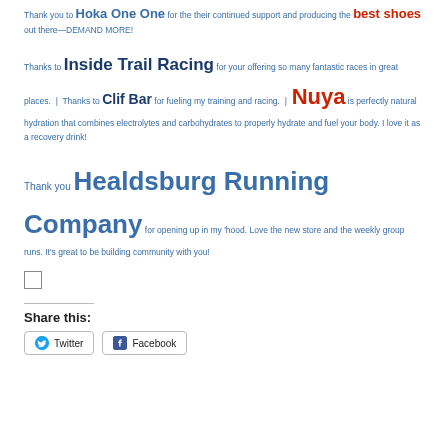Thank you to Hoka One One for the their continued support and producing the best shoes out there—DEMAND MORE!
Thanks to Inside Trail Racing for your offering so many fantastic races in great places. | Thanks to Clif Bar for fueling my training and racing. | Nuya is perfectly natural hydration that combines electrolytes and carbohydrates to properly hydrate and fuel your body. I love it as a recovery drink!
Thank you Healdsburg Running Company for opening up in my 'hood. Love the new store and the weekly group runs. It's great to be building community with you!
Share this:
Twitter  Facebook